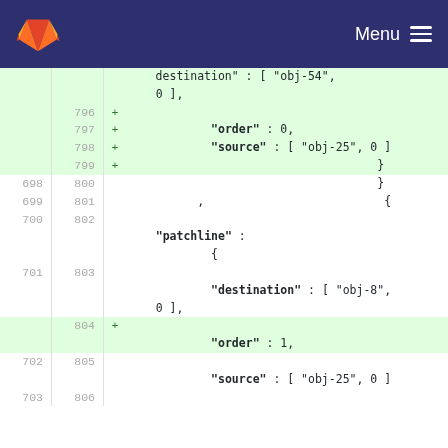GitLab — Menu
Code diff view showing lines 796-806 of a file with added and normal lines containing JSON patchline data with destination, order, and source fields referencing obj-25, obj-8 objects